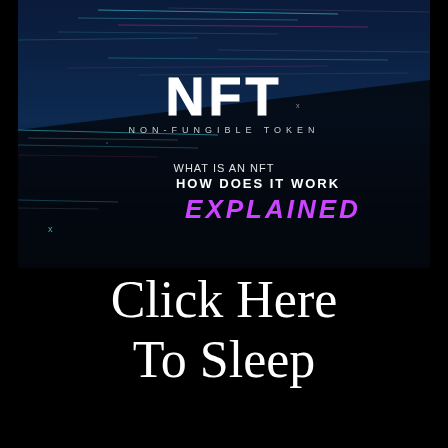[Figure (illustration): NFT promotional image with dark blue and black background, glitch-style light streaks, large white bold 'NFT' text, subtitle 'NON-FUNGIBLE TOKEN', and text overlay: 'WHAT IS AN NFT HOW DOES IT WORK EXPLAINED' with EXPLAINED in magenta/purple italic text]
Click Here
To Sleep